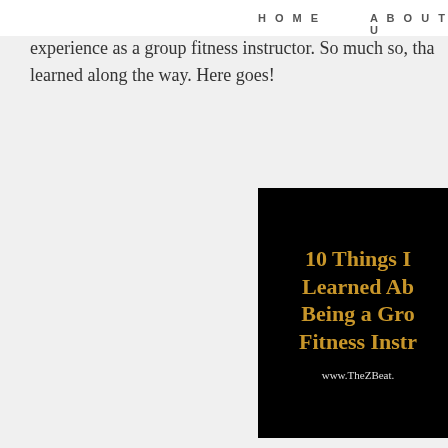HOME   ABOUT U
Your reactions to Wednesday's post about being a group fitness instructor. So much so, that I decided to share what I learned along the way. Here goes!
[Figure (illustration): Black background image with gold serif text reading '10 Things I Learned About Being a Group Fitness Instructor' and white URL text 'www.TheZBeat.']